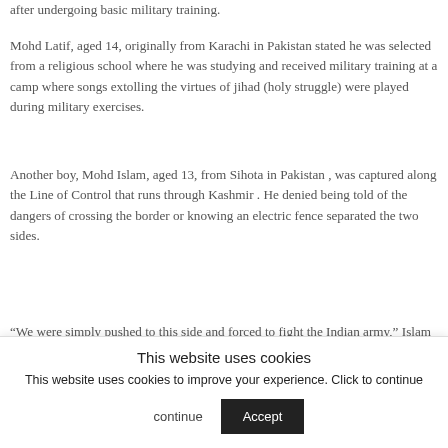after undergoing basic military training.
Mohd Latif, aged 14, originally from Karachi in Pakistan stated he was selected from a religious school where he was studying and received military training at a camp where songs extolling the virtues of jihad (holy struggle) were played during military exercises.
Another boy, Mohd Islam, aged 13, from Sihota in Pakistan , was captured along the Line of Control that runs through Kashmir . He denied being told of the dangers of crossing the border or knowing an electric fence separated the two sides.
“We were simply pushed to this side and forced to fight the Indian army,” Islam said.
This website uses cookies
This website uses cookies to improve your experience. Click to continue
Accept